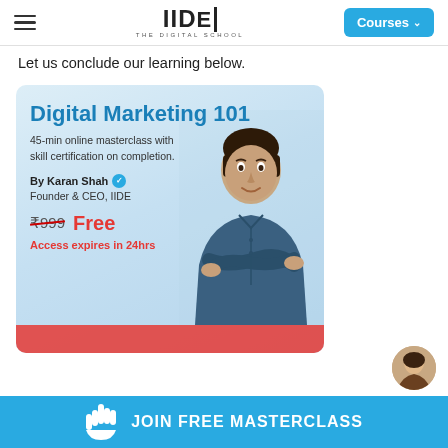IIDE THE DIGITAL SCHOOL | Courses
Let us conclude our learning below.
[Figure (illustration): IIDE Digital Marketing 101 promotional ad card featuring Karan Shah (Founder & CEO, IIDE), price ₹999 crossed out, Free, Access expires in 24hrs, with a photo of a man in blue shirt with arms crossed, and a JOIN FREE MASTERCLASS button at the bottom.]